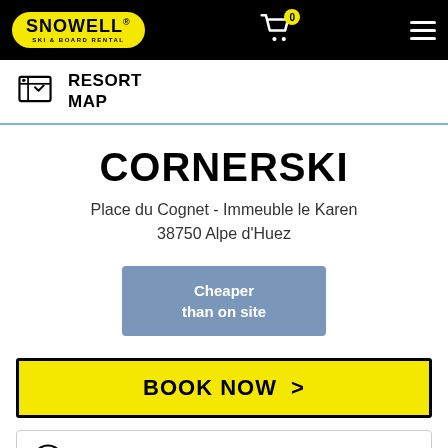SNOWELL SKI & BOARD RENTAL — 0 — menu
RESORT MAP
CORNERSKI
Place du Cognet - Immeuble le Karen
38750 Alpe d'Huez
Cheaper than on site
BOOK NOW >
INFO &